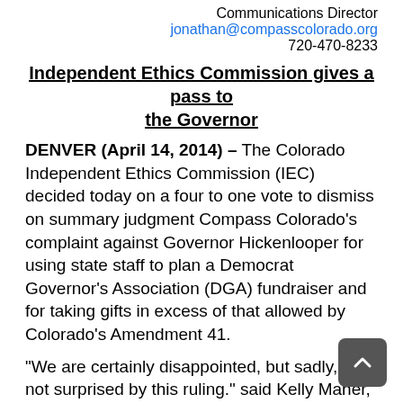Communications Director
jonathan@compasscolorado.org
720-470-8233
Independent Ethics Commission gives a pass to the Governor
DENVER (April 14, 2014) – The Colorado Independent Ethics Commission (IEC) decided today on a four to one vote to dismiss on summary judgment Compass Colorado's complaint against Governor Hickenlooper for using state staff to plan a Democrat Governor's Association (DGA) fundraiser and for taking gifts in excess of that allowed by Colorado's Amendment 41.
“We are certainly disappointed, but sadly, are not surprised by this ruling.” said Kelly Maher, executive director of Compass Colorado. “Apparently, the only thing you need to get a pass from the IEC in Colorado is a ‘D’ behind your name.”